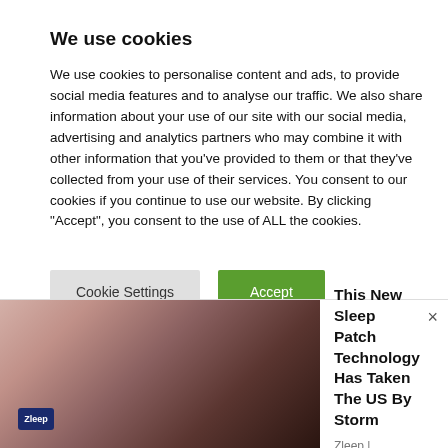We use cookies
We use cookies to personalise content and ads, to provide social media features and to analyse our traffic. We also share information about your use of our site with our social media, advertising and analytics partners who may combine it with other information that you’ve provided to them or that they’ve collected from your use of their services. You consent to our cookies if you continue to use our website. By clicking “Accept”, you consent to the use of ALL the cookies.
[Figure (screenshot): Cookie consent dialog with Cookie Settings and Accept buttons]
[Figure (photo): Advertisement banner showing a person sleeping with a sleep patch, promoting Zleep sleep patch technology]
This New Sleep Patch Technology Has Taken The US By Storm
Zleep | Sponsored